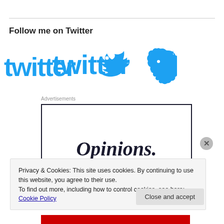Follow me on Twitter
[Figure (logo): Twitter logo in cyan/light blue color with bird icon]
Advertisements
[Figure (screenshot): Advertisement box with 'Opinions.' text in dark serif font]
Privacy & Cookies: This site uses cookies. By continuing to use this website, you agree to their use.
To find out more, including how to control cookies, see here: Cookie Policy